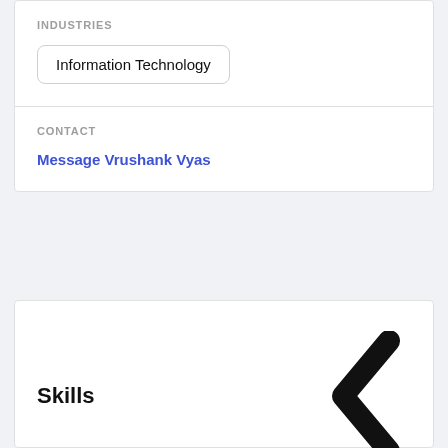INDUSTRIES
Information Technology
CONTACT
Message Vrushank Vyas
Skills
[Figure (illustration): Left-pointing chevron arrow icon in black]